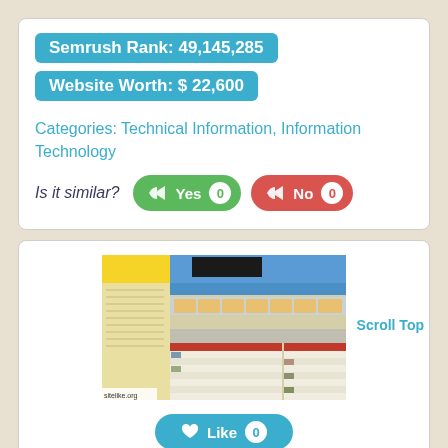Semrush Rank: 49,145,285
Website Worth: $ 22,600
Categories: Technical Information, Information Technology
Is it similar? Yes 0  No 0
[Figure (screenshot): Screenshot of a website showing a forum-style layout with yellow sidebar, navigation bar, and tabular content listings. Watermark: sitelike.org]
Scroll Top
Like 0